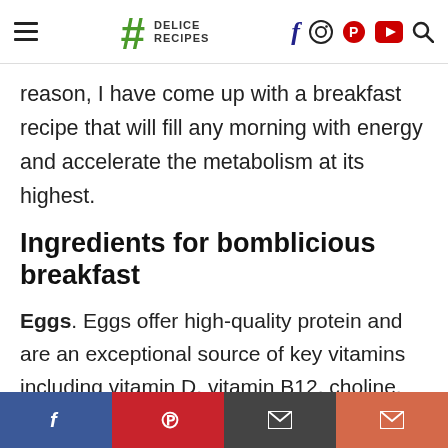Delice Recipes — navigation header with logo and social icons
reason, I have come up with a breakfast recipe that will fill any morning with energy and accelerate the metabolism at its highest.
Ingredients for bomblicious breakfast
Eggs. Eggs offer high-quality protein and are an exceptional source of key vitamins including vitamin D, vitamin B12, choline, vitamin A, iron, vitamin B6, vitamin E (selenium and zinc),
Social share bar: Facebook, Pinterest, Email, Email